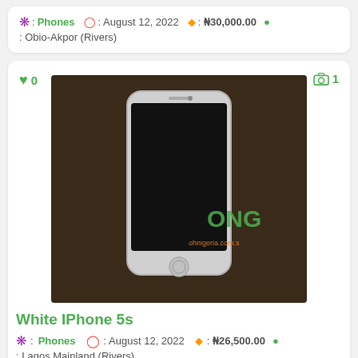❋ : Phones  ⏱ : August 12, 2022  🏷 : ₦30,000.00  📍 : Obio-Akpor (Rivers)
[Figure (photo): White iPhone 5s product listing card showing phone image with ONG watermark]
White IPhone 5s
❋ : Phones  ⏱ : August 12, 2022  🏷 : ₦26,500.00  📍 : Lagos Mainland (Rivers)
[Figure (photo): Third listing card showing phones/tablets with WhatsApp button overlay, count 1]